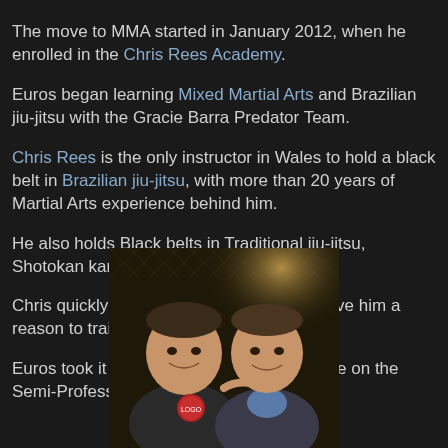The move to MMA started in January 2012, when he enrolled in the Chris Rees Academy. Euros began learning Mixed Martial Arts and Brazilian jiu-jitsu with the Gracie Barra Predator Team. Chris Rees is the only instructor in Wales to hold a black belt in Brazilian jiu-jitsu, with more than 20 years of Martial Arts experience behind him. He also holds Black belts in Traditional jiu-jitsu, Shotokan karate and Aikido. Chris quickly saw potential in Euros and gave him a reason to train. Euros took it as a personal challenge to take on the Semi-Professional bout in the MMA fight.
[Figure (photo): Two men smiling and posing together in front of a chain-link fence, one wearing a dark hoodie with a logo and the other in a suit jacket.]